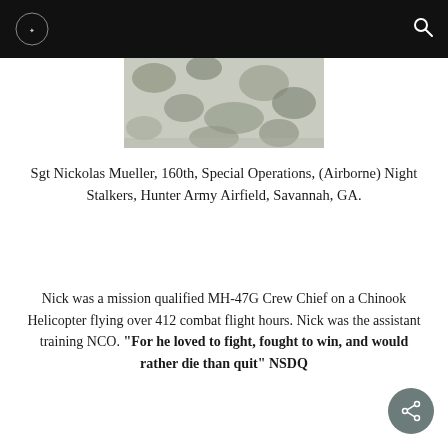[Figure (photo): Partial photo showing camouflage military uniform or foliage pattern, cropped at bottom of header area]
Sgt Nickolas Mueller, 160th, Special Operations, (Airborne) Night Stalkers, Hunter Army Airfield, Savannah, GA.
Nick was a mission qualified MH-47G Crew Chief on a Chinook Helicopter flying over 412 combat flight hours. Nick was the assistant training NCO. “For he loved to fight, fought to win, and would rather die than quit” NSDQ